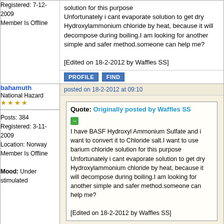Registered: 7-12-2009
Member Is Offline
solution for this purpose
Unfortunately i cant evaporate solution to get dry Hydroxylammonium chloride by heat, because it will decompose during boiling.I am looking for another simple and safer method.someone can help me?

[Edited on 18-2-2012 by Waffles SS]
PROFILE   FIND
bahamuth
National Hazard
★★★★
Posts: 384
Registered: 3-11-2009
Location: Norway
Member Is Offline

Mood: Under stimulated
posted on 18-2-2012 at 09:10
Quote: Originally posted by Waffles SS
I have BASF Hydroxyl Ammonium Sulfate and i want to convert it to Chloride salt.I want to use barium chloride solution for this purpose
Unfortunately i cant evaporate solution to get dry Hydroxylammonium chloride by heat, because it will decompose during boiling.I am looking for another simple and safer method.someone can help me?

[Edited on 18-2-2012 by Waffles SS]